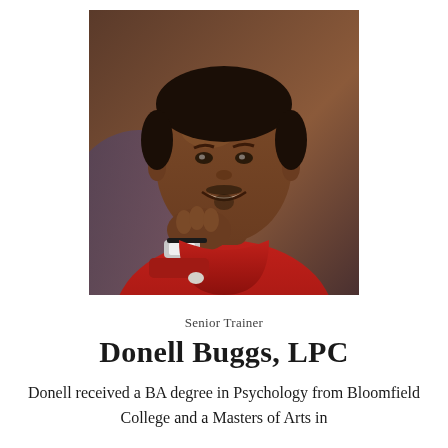[Figure (photo): Portrait photo of Donell Buggs, LPC. A smiling man in a red shirt, chin resting on his hand, wearing a watch, photographed against a warm background.]
Senior Trainer
Donell Buggs, LPC
Donell received a BA degree in Psychology from Bloomfield College and a Masters of Arts in